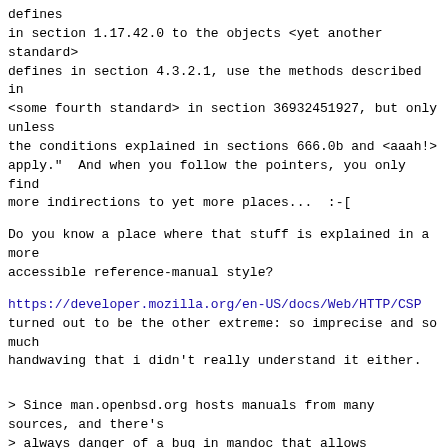defines
in section 1.17.42.0 to the objects <yet another
standard>
defines in section 4.3.2.1, use the methods described
in
<some fourth standard> in section 36932451927, but only
unless
the conditions explained in sections 666.0b and <aaah!>
apply."  And when you follow the pointers, you only
find
more indirections to yet more places...  :-[
Do you know a place where that stuff is explained in a
more
accessible reference-manual style?
https://developer.mozilla.org/en-US/docs/Web/HTTP/CSP
turned out to be the other extreme: so imprecise and so
much
handwaving that i didn't really understand it either.
> Since man.openbsd.org hosts manuals from many
sources, and there's
> always danger of a bug in mandoc that allows
dangerous HTML content
> through, a policy of "default-src 'none'; style-src
'self'" would be
> appropriate: this allows external stylesheets loaded
from a URL on